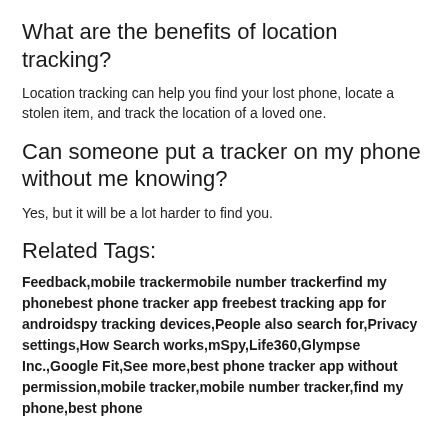What are the benefits of location tracking?
Location tracking can help you find your lost phone, locate a stolen item, and track the location of a loved one.
Can someone put a tracker on my phone without me knowing?
Yes, but it will be a lot harder to find you.
Related Tags:
Feedback,mobile trackermobile number trackerfind my phonebest phone tracker app freebest tracking app for androidspy tracking devices,People also search for,Privacy settings,How Search works,mSpy,Life360,Glympse Inc.,Google Fit,See more,best phone tracker app without permission,mobile tracker,mobile number tracker,find my phone,best phone tracker app free,best tracking app for android,spy tracking devices,cell phone location